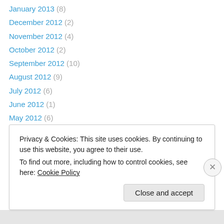January 2013 (8)
December 2012 (2)
November 2012 (4)
October 2012 (2)
September 2012 (10)
August 2012 (9)
July 2012 (6)
June 2012 (1)
May 2012 (6)
April 2012 (1)
March 2012 (5)
February 2012 (1)
January 2012 (7)
Privacy & Cookies: This site uses cookies. By continuing to use this website, you agree to their use.
To find out more, including how to control cookies, see here: Cookie Policy